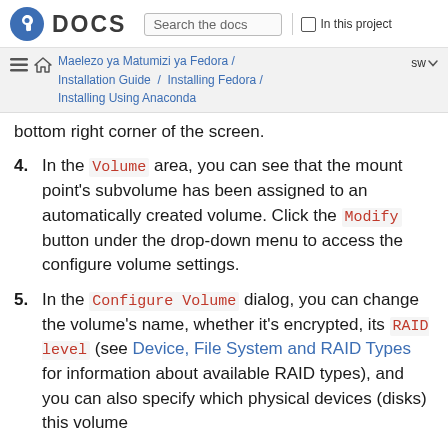Fedora DOCS — Search the docs | In this project
Maelezo ya Matumizi ya Fedora / Installation Guide / Installing Fedora / Installing Using Anaconda — sw
bottom right corner of the screen.
4. In the Volume area, you can see that the mount point's subvolume has been assigned to an automatically created volume. Click the Modify button under the drop-down menu to access the configure volume settings.
5. In the Configure Volume dialog, you can change the volume's name, whether it's encrypted, its RAID level (see Device, File System and RAID Types for information about available RAID types), and you can also specify which physical devices (disks) this volume